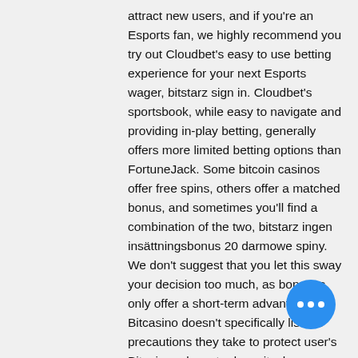attract new users, and if you're an Esports fan, we highly recommend you try out Cloudbet's easy to use betting experience for your next Esports wager, bitstarz sign in. Cloudbet's sportsbook, while easy to navigate and providing in-play betting, generally offers more limited betting options than FortuneJack. Some bitcoin casinos offer free spins, others offer a matched bonus, and sometimes you'll find a combination of the two, bitstarz ingen insättningsbonus 20 darmowe spiny. We don't suggest that you let this sway your decision too much, as bonuses only offer a short-term advantage. Bitcasino doesn't specifically list the precautions they take to protect user's Bitcoin and crypto deposits, however, they do assure players that their funds are safe, bitstarz casino 25 gratissnurr. Nevertheless, without details of Bitcasino's custody methods, it's difficult to say for certain how secure deposits are on the casino. The best